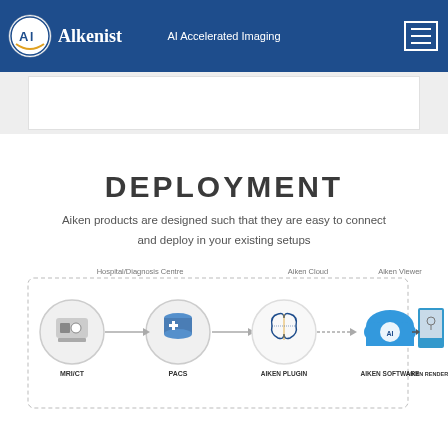AI Accelerated Imaging | Alkenist
DEPLOYMENT
Aiken products are designed such that they are easy to connect and deploy in your existing setups
[Figure (infographic): Deployment workflow diagram showing: MRI/CT → PACS → AIKEN PLUGIN (with brain icon) → AIKEN SOFTWARE (cloud) in Aiken Cloud section → AIKEN RENDERER (Aiken Viewer section). Sections labeled Hospital/Diagnosis Centre, Aiken Cloud, and Aiken Viewer.]